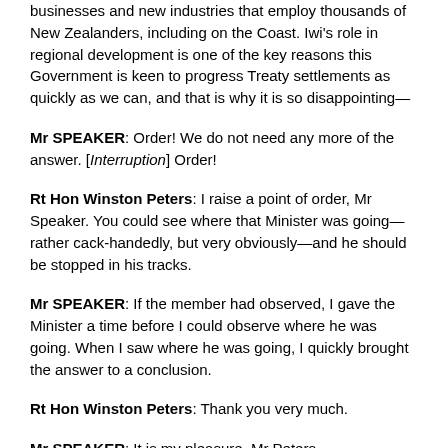businesses and new industries that employ thousands of New Zealanders, including on the Coast. Iwi's role in regional development is one of the key reasons this Government is keen to progress Treaty settlements as quickly as we can, and that is why it is so disappointing—
Mr SPEAKER: Order! We do not need any more of the answer. [Interruption] Order!
Rt Hon Winston Peters: I raise a point of order, Mr Speaker. You could see where that Minister was going—rather cack-handedly, but very obviously—and he should be stopped in his tracks.
Mr SPEAKER: If the member had observed, I gave the Minister a time before I could observe where he was going. When I saw where he was going, I quickly brought the answer to a conclusion.
Rt Hon Winston Peters: Thank you very much.
Mr SPEAKER: It is my pleasure, Mr Peters.